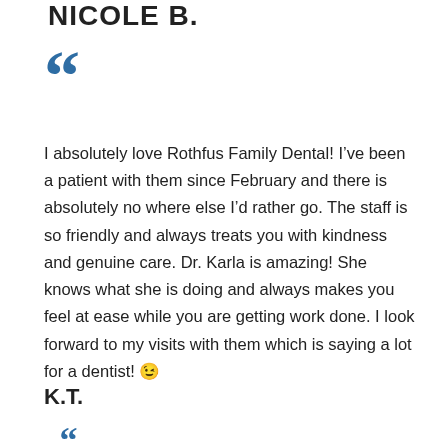NICOLE B.
[Figure (illustration): Large blue open quotation mark icon]
I absolutely love Rothfus Family Dental! I’ve been a patient with them since February and there is absolutely no where else I’d rather go. The staff is so friendly and always treats you with kindness and genuine care. Dr. Karla is amazing! She knows what she is doing and always makes you feel at ease while you are getting work done. I look forward to my visits with them which is saying a lot for a dentist! 😉
K.T.
[Figure (illustration): Large blue open quotation mark icon (partial, bottom of page)]